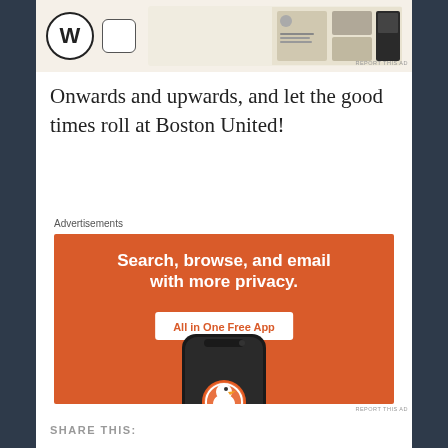[Figure (screenshot): Top advertisement area with WordPress logo circle, a small icon, and magazine/tablet imagery on beige background with REPORT THIS AD text]
Onwards and upwards, and let the good times roll at Boston United!
Advertisements
[Figure (screenshot): DuckDuckGo advertisement on orange background: 'Search, browse, and email with more privacy. All in One Free App' with a phone showing DuckDuckGo app icon and logo]
REPORT THIS AD
SHARE THIS: